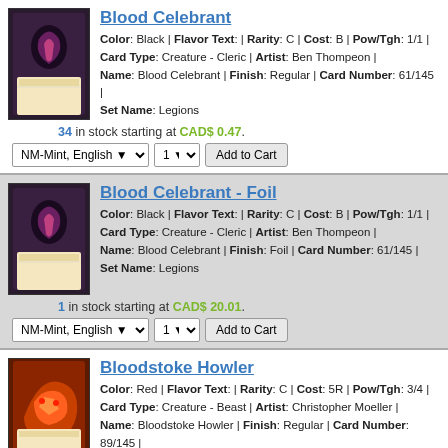Blood Celebrant
Color: Black | Flavor Text: | Rarity: C | Cost: B | Pow/Tgh: 1/1 | Card Type: Creature - Cleric | Artist: Ben Thompeon | Name: Blood Celebrant | Finish: Regular | Card Number: 61/145 | Set Name: Legions
34 in stock starting at CAD$ 0.47.
Blood Celebrant - Foil
Color: Black | Flavor Text: | Rarity: C | Cost: B | Pow/Tgh: 1/1 | Card Type: Creature - Cleric | Artist: Ben Thompeon | Name: Blood Celebrant | Finish: Foil | Card Number: 61/145 | Set Name: Legions
1 in stock starting at CAD$ 20.01.
Bloodstoke Howler
Color: Red | Flavor Text: | Rarity: C | Cost: 5R | Pow/Tgh: 3/4 | Card Type: Creature - Beast | Artist: Christopher Moeller | Name: Bloodstoke Howler | Finish: Regular | Card Number: 89/145 | Set Name: Legions
21 in stock starting at CAD$ 0.32.
Bloodstoke Howler - Foil
Color: Red | Flavor Text: | Rarity: C | Cost: 5R | Pow/Tgh: 3/4 | Card Type: Creature - Beast | Artist: Christopher Moeller |